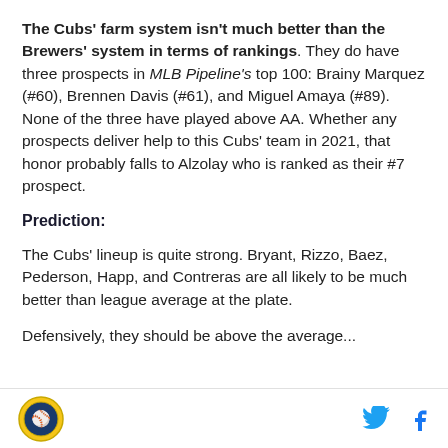The Cubs' farm system isn't much better than the Brewers' system in terms of rankings. They do have three prospects in MLB Pipeline's top 100: Brainy Marquez (#60), Brennen Davis (#61), and Miguel Amaya (#89). None of the three have played above AA. Whether any prospects deliver help to this Cubs' team in 2021, that honor probably falls to Alzolay who is ranked as their #7 prospect.
Prediction:
The Cubs' lineup is quite strong. Bryant, Rizzo, Baez, Pederson, Happ, and Contreras are all likely to be much better than league average at the plate.
[logo] [twitter] [facebook]